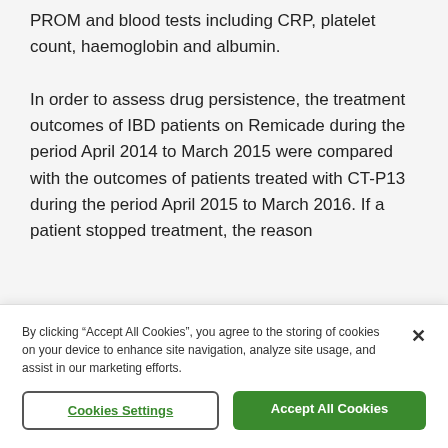PROM and blood tests including CRP, platelet count, haemoglobin and albumin.
In order to assess drug persistence, the treatment outcomes of IBD patients on Remicade during the period April 2014 to March 2015 were compared with the outcomes of patients treated with CT-P13 during the period April 2015 to March 2016. If a patient stopped treatment, the reason
By clicking “Accept All Cookies”, you agree to the storing of cookies on your device to enhance site navigation, analyze site usage, and assist in our marketing efforts.
Cookies Settings
Accept All Cookies